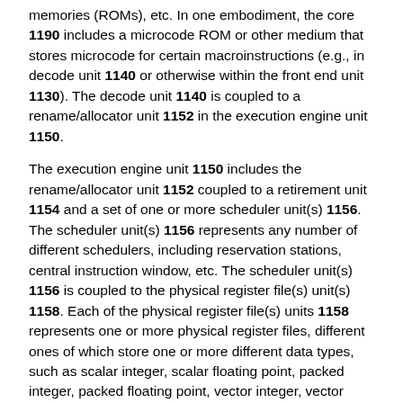memories (ROMs), etc. In one embodiment, the core 1190 includes a microcode ROM or other medium that stores microcode for certain macroinstructions (e.g., in decode unit 1140 or otherwise within the front end unit 1130). The decode unit 1140 is coupled to a rename/allocator unit 1152 in the execution engine unit 1150.
The execution engine unit 1150 includes the rename/allocator unit 1152 coupled to a retirement unit 1154 and a set of one or more scheduler unit(s) 1156. The scheduler unit(s) 1156 represents any number of different schedulers, including reservation stations, central instruction window, etc. The scheduler unit(s) 1156 is coupled to the physical register file(s) unit(s) 1158. Each of the physical register file(s) units 1158 represents one or more physical register files, different ones of which store one or more different data types, such as scalar integer, scalar floating point, packed integer, packed floating point, vector integer, vector floating point, status (e.g., an instruction pointer that is the address of the next instruction to be executed), etc. In one embodiment, the physical register file(s) unit 1158 comprises a vector registers unit, a write mask registers unit, and a scalar